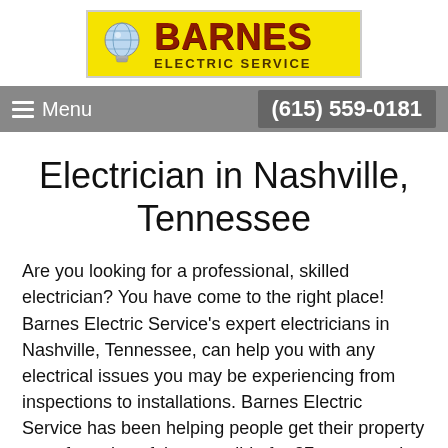[Figure (logo): Barnes Electric Service logo with yellow background, light bulb graphic, and red BARNES text with ELECTRIC SERVICE subtitle]
Menu   (615) 559-0181
Electrician in Nashville, Tennessee
Are you looking for a professional, skilled electrician? You have come to the right place! Barnes Electric Service's expert electricians in Nashville, Tennessee, can help you with any electrical issues you may be experiencing from inspections to installations. Barnes Electric Service has been helping people get their property as safe and useful as possible for 27 years, and are ready to get started helping you.